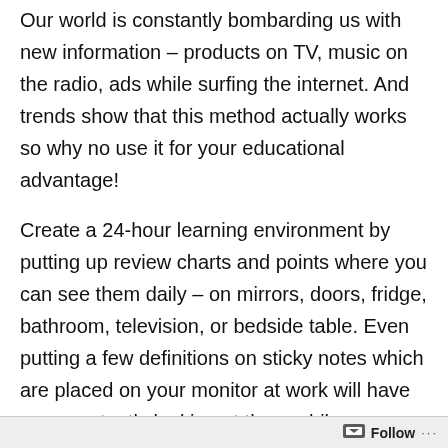Our world is constantly bombarding us with new information – products on TV, music on the radio, ads while surfing the internet. And trends show that this method actually works so why no use it for your educational advantage!
Create a 24-hour learning environment by putting up review charts and points where you can see them daily – on mirrors, doors, fridge, bathroom, television, or bedside table. Even putting a few definitions on sticky notes which are placed on your monitor at work will have you constantly looking at them while you are working which will help the definition stick in your mind.
If possible, even look at purchasing a white board and dry erase markers, so you can test your recall by reproducing
Follow